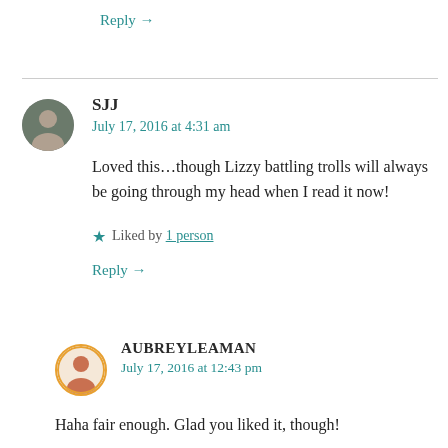Reply →
SJJ
July 17, 2016 at 4:31 am
Loved this...though Lizzy battling trolls will always be going through my head when I read it now!
Liked by 1 person
Reply →
AUBREYLEAMAN
July 17, 2016 at 12:43 pm
Haha fair enough. Glad you liked it, though!